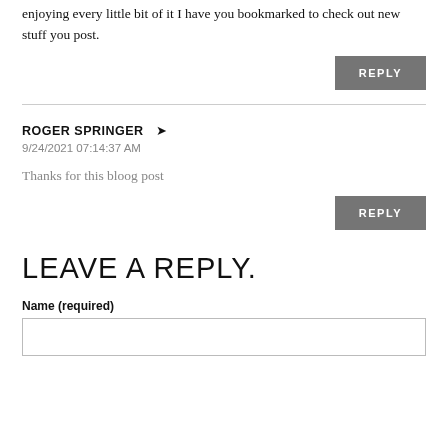enjoying every little bit of it I have you bookmarked to check out new stuff you post.
REPLY
ROGER SPRINGER
9/24/2021 07:14:37 AM
Thanks for this bloog post
REPLY
LEAVE A REPLY.
Name (required)